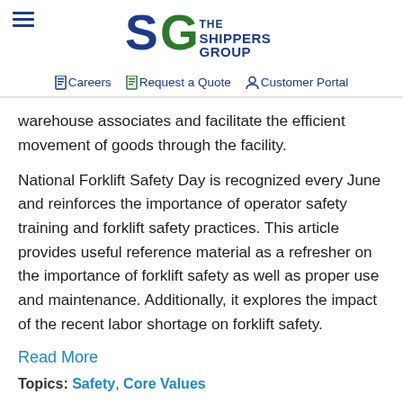The Shippers Group — navigation header with Careers, Request a Quote, Customer Portal links
warehouse associates and facilitate the efficient movement of goods through the facility.
National Forklift Safety Day is recognized every June and reinforces the importance of operator safety training and forklift safety practices. This article provides useful reference material as a refresher on the importance of forklift safety as well as proper use and maintenance. Additionally, it explores the impact of the recent labor shortage on forklift safety.
Read More
Topics: Safety, Core Values